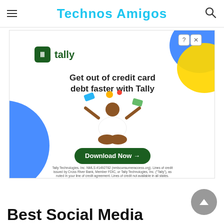Technos Amigos
[Figure (illustration): Tally advertisement banner: 'Get out of credit card debt faster with Tally' with a Download Now button, decorative shapes, and legal disclaimer text. Tally Technologies, Inc. NMLS #1492782 (nmlsconsumeraccess.org). Lines of credit issued by Cross River Bank, Member FDIC, or Tally Technologies, Inc. ('Tally'), as noted in your line of credit agreement. Lines of credit not available in all states.]
Best Social Media